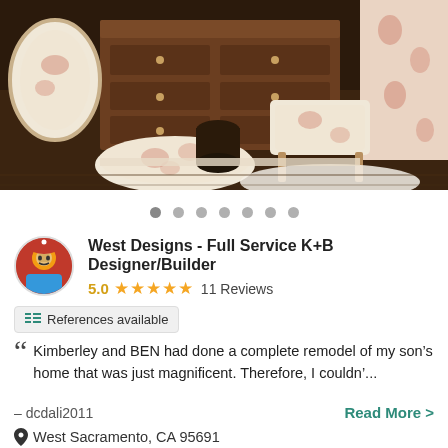[Figure (photo): Interior room scene with antique wooden dresser, floral-upholstered chairs and stool, and floral curtains on a hardwood floor with a white fur rug]
● ● ● ● ● ● ● (carousel dots)
West Designs - Full Service K+B Designer/Builder
5.0 ★★★★★ 11 Reviews
References available
Kimberley and BEN had done a complete remodel of my son's home that was just magnificent. Therefore, I couldn'...
– dcdali2011
Read More >
West Sacramento, CA 95691